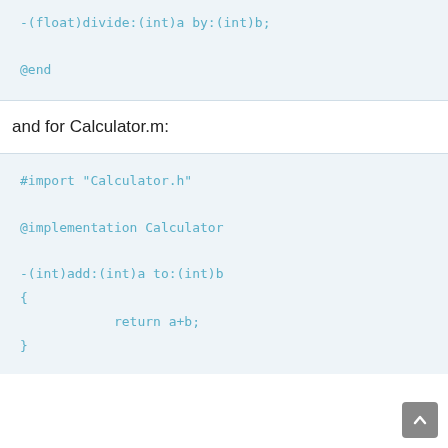-(float)divide:(int)a by:(int)b;
@end
and for Calculator.m:
#import "Calculator.h"

@implementation Calculator

-(int)add:(int)a to:(int)b
{
            return a+b;
}